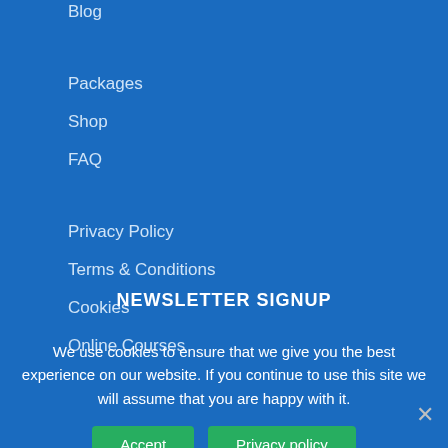Blog
Packages
Shop
FAQ
Privacy Policy
Terms & Conditions
Cookies
Online Courses
NEWSLETTER SIGNUP
We use cookies to ensure that we give you the best experience on our website. If you continue to use this site we will assume that you are happy with it.
Accept   Privacy policy